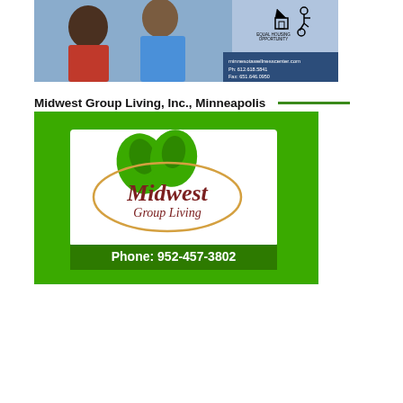[Figure (photo): Healthcare advertisement image showing an elderly woman and a nurse smiling, with equal housing opportunity and accessibility icons, and contact info: minnesotawellnesscenter.com, Ph: 612.618.5841, Fax: 651.646.0950]
Midwest Group Living, Inc., Minneapolis
[Figure (logo): Midwest Group Living logo on green background with phone number 952-457-3802. Logo shows green leaf clusters above an oval containing the text Midwest Group Living in maroon/brown script. A dark green banner at bottom reads: Phone: 952-457-3802]